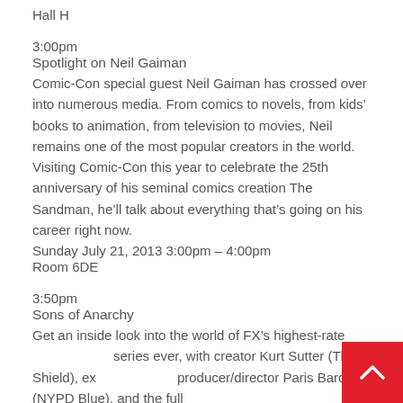Hall H
3:00pm
Spotlight on Neil Gaiman
Comic-Con special guest Neil Gaiman has crossed over into numerous media. From comics to novels, from kids’ books to animation, from television to movies, Neil remains one of the most popular creators in the world. Visiting Comic-Con this year to celebrate the 25th anniversary of his seminal comics creation The Sandman, he’ll talk about everything that’s going on his career right now.
Sunday July 21, 2013 3:00pm – 4:00pm
Room 6DE
3:50pm
Sons of Anarchy
Get an inside look into the world of FX’s highest-rated series ever, with creator Kurt Sutter (The Shield), executive producer/director Paris Barclay (NYPD Blue), and the full